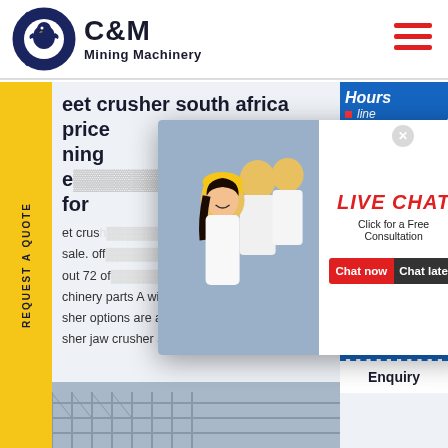[Figure (logo): C&M Mining Machinery logo with eagle in gear circle]
eet crusher south africa price ning equipment for sale
et crusher sale. off out 72 of chinery parts A wide variety of sher options are available to you sher jaw crusher and impact cr
[Figure (photo): Live chat popup with workers in yellow hard hats, LIVE CHAT title in red, Click for a Free Consultation subtitle, Chat now and Chat later buttons]
[Figure (photo): Right side widget showing hours online panel and female customer service representative with headset, Click to Chat button and Enquiry text]
[Figure (photo): Bottom strip showing industrial/scaffolding equipment]